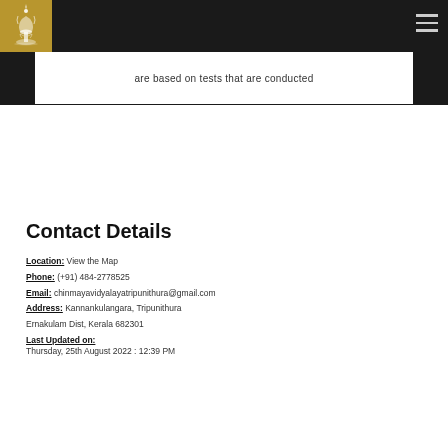[Figure (logo): Institutional logo in white on gold/brown square background, top left corner]
are based on tests that are conducted
Contact Details
Location: View the Map
Phone: (+91) 484-2778525
Email: chinmayavidyalayatripunithura@gmail.com
Address: Kannankulangara, Tripunithura
Ernakulam Dist, Kerala 682301
Last Updated on:
Thursday, 25th August 2022 : 12:39 PM